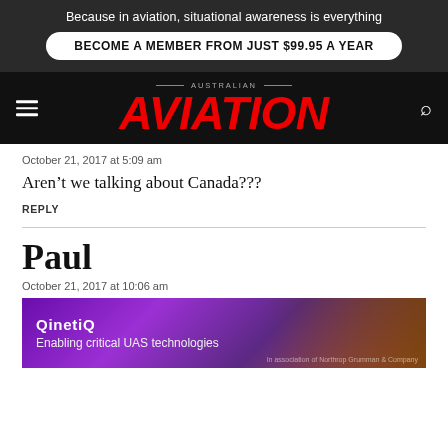Because in aviation, situational awareness is everything
BECOME A MEMBER FROM JUST $99.95 A YEAR
[Figure (logo): Australian Aviation magazine logo with hamburger menu and search icon on dark background]
October 21, 2017 at 5:09 am
Aren’t we talking about Canada???
REPLY
Paul
October 21, 2017 at 10:06 am
Craigy, they are better off investing in a capable fast jet for with. Maybe buy the F-15 strike eagle to have the Sings to
[Figure (screenshot): QinetiQ advertisement overlay: 'Enabling critical UAS technologies' on purple/brown gradient background with aerial vehicle imagery]